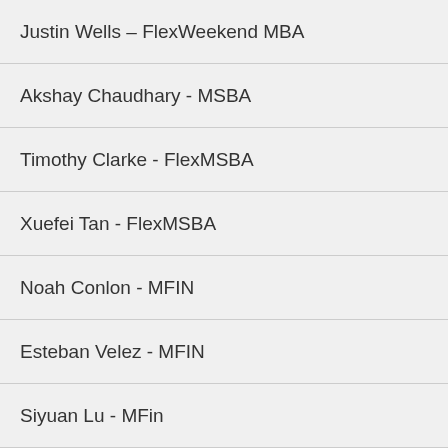Justin Wells – FlexWeekend MBA
Akshay Chaudhary - MSBA
Timothy Clarke - FlexMSBA
Xuefei Tan - FlexMSBA
Noah Conlon - MFIN
Esteban Velez - MFIN
Siyuan Lu - MFin